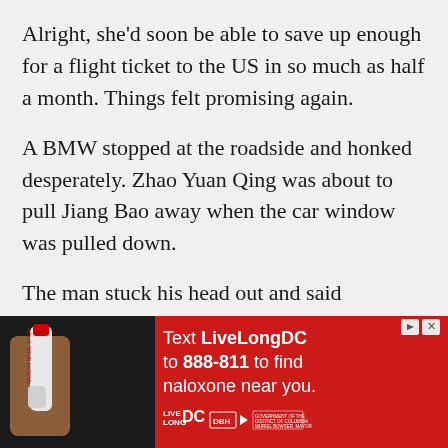Alright, she'd soon be able to save up enough for a flight ticket to the US in so much as half a month. Things felt promising again.
A BMW stopped at the roadside and honked desperately. Zhao Yuan Qing was about to pull Jiang Bao away when the car window was pulled down.
The man stuck his head out and said smilingly, “Aren’t you two the interpreter and the model?
[Figure (infographic): Red advertisement banner for LiveLong DC: Text LiveLongDC to 888-811 to find naloxone near you. Features logos for LIVE LONG DC, DBH, and Government of the District of Columbia, Muriel Bowser Mayor. Left side shows a hand holding a nasal spray device.]